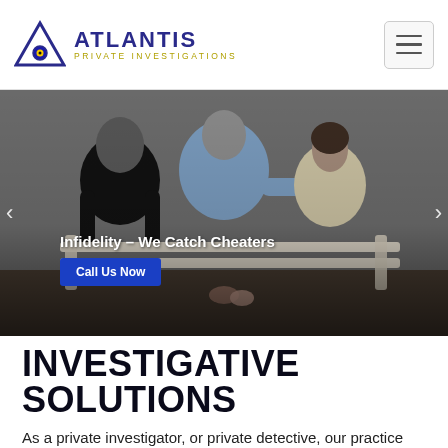ATLANTIS PRIVATE INVESTIGATIONS
[Figure (photo): Three people sitting on a bench — a man in black shirt on left, a couple in center and right holding hands behind back, suggesting infidelity. Overlay text: 'Infidelity – We Catch Cheaters' with 'Call Us Now' button.]
INVESTIGATIVE SOLUTIONS
As a private investigator, or private detective, our practice includes civil litigation, missing persons, insurance fraud,